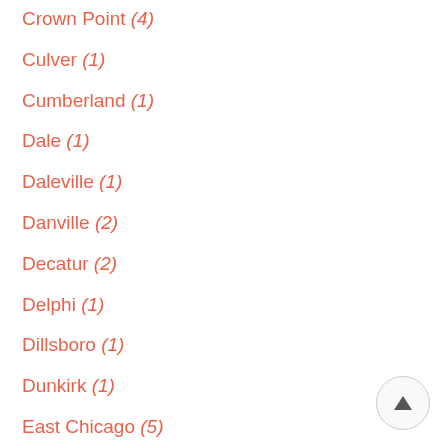Crown Point (4)
Culver (1)
Cumberland (1)
Dale (1)
Daleville (1)
Danville (2)
Decatur (2)
Delphi (1)
Dillsboro (1)
Dunkirk (1)
East Chicago (5)